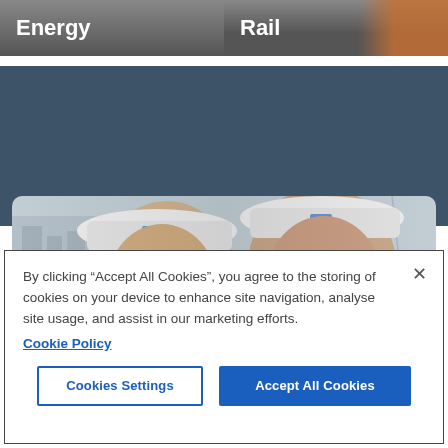[Figure (screenshot): Navigation buttons: 'Energy' (grey gradient) and 'Rail' (grey gradient with orange/person image at right)]
[Figure (photo): Dark blue-grey background band section of a website]
[Figure (photo): Two workers wearing white hard hats with company logos, one on phone, at an industrial/energy facility with metal structures in background]
By clicking “Accept All Cookies”, you agree to the storing of cookies on your device to enhance site navigation, analyse site usage, and assist in our marketing efforts.
Cookie Policy
×
Cookies Settings
Accept All Cookies